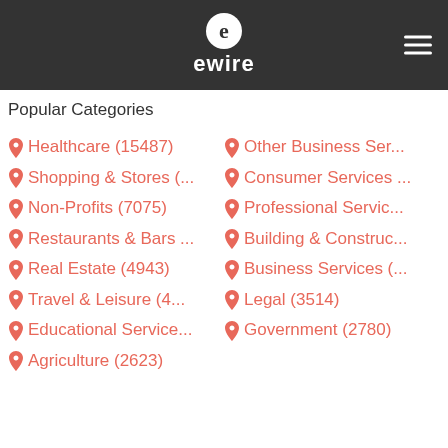[Figure (logo): ewire logo with stylized 'e' in circle above text 'ewire' on dark background header with hamburger menu icon]
Popular Categories
Healthcare (15487)
Other Business Ser...
Shopping & Stores (...
Consumer Services ...
Non-Profits (7075)
Professional Servic...
Restaurants & Bars ...
Building & Construc...
Real Estate (4943)
Business Services (...
Travel & Leisure (4...
Legal (3514)
Educational Service...
Government (2780)
Agriculture (2623)